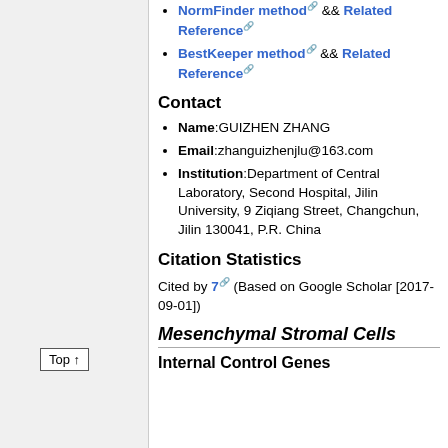NormFinder method && Related Reference
BestKeeper method && Related Reference
Contact
Name:GUIZHEN ZHANG
Email:zhanguizhenjlu@163.com
Institution:Department of Central Laboratory, Second Hospital, Jilin University, 9 Ziqiang Street, Changchun, Jilin 130041, P.R. China
Citation Statistics
Cited by 7 (Based on Google Scholar [2017-09-01])
Mesenchymal Stromal Cells
Internal Control Genes